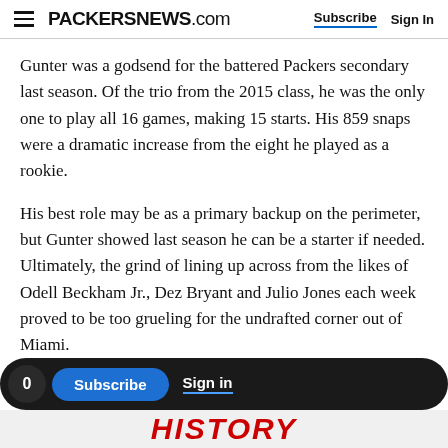PACKERSNEWS.com  Subscribe  Sign In
Gunter was a godsend for the battered Packers secondary last season. Of the trio from the 2015 class, he was the only one to play all 16 games, making 15 starts. His 859 snaps were a dramatic increase from the eight he played as a rookie.
His best role may be as a primary backup on the perimeter, but Gunter showed last season he can be a starter if needed. Ultimately, the grind of lining up across from the likes of Odell Beckham Jr., Dez Bryant and Julio Jones each week proved to be too grueling for the undrafted corner out of Miami.
[Figure (screenshot): Subscribe bar with circle showing '0', blue Subscribe button, and Sign in link on dark background]
[Figure (screenshot): Partial red italic HISTORY text banner at bottom of page]